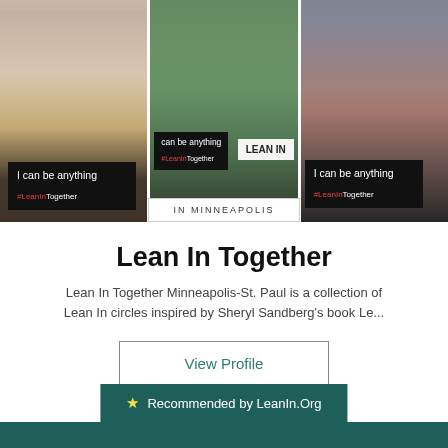[Figure (photo): Three-panel photo collage of women at a Lean In Together event in Minneapolis holding signs that read 'I can be anything #LeanInTogether' and 'LEAN IN']
IN MINNEAPOLIS
Lean In Together
Lean In Together Minneapolis-St. Paul is a collection of Lean In circles inspired by Sheryl Sandberg's book Le...
View Profile
★ Recommended by LeanIn.Org